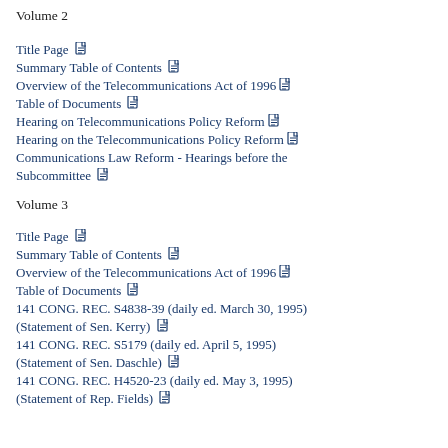Volume 2
Title Page
Summary Table of Contents
Overview of the Telecommunications Act of 1996
Table of Documents
Hearing on Telecommunications Policy Reform
Hearing on the Telecommunications Policy Reform
Communications Law Reform - Hearings before the Subcommittee
Volume 3
Title Page
Summary Table of Contents
Overview of the Telecommunications Act of 1996
Table of Documents
141 CONG. REC. S4838-39 (daily ed. March 30, 1995) (Statement of Sen. Kerry)
141 CONG. REC. S5179 (daily ed. April 5, 1995) (Statement of Sen. Daschle)
141 CONG. REC. H4520-23 (daily ed. May 3, 1995) (Statement of Rep. Fields)